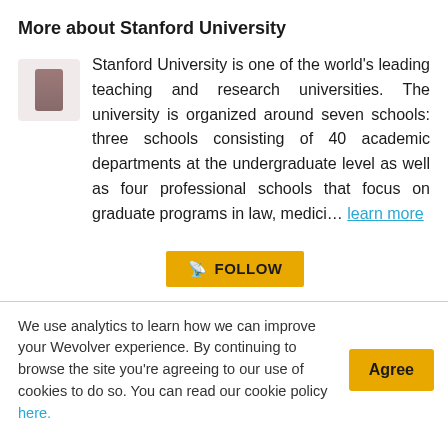More about Stanford University
Stanford University is one of the world's leading teaching and research universities. The university is organized around seven schools: three schools consisting of 40 academic departments at the undergraduate level as well as four professional schools that focus on graduate programs in law, medici... learn more
FOLLOW
We use analytics to learn how we can improve your Wevolver experience. By continuing to browse the site you're agreeing to our use of cookies to do so. You can read our cookie policy here.